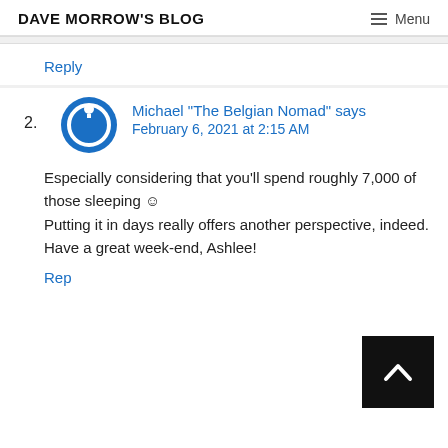DAVE MORROW'S BLOG   Menu
Reply
2. Michael "The Belgian Nomad" says February 6, 2021 at 2:15 AM
Especially considering that you'll spend roughly 7,000 of those sleeping ☺ Putting it in days really offers another perspective, indeed. Have a great week-end, Ashlee!
Reply